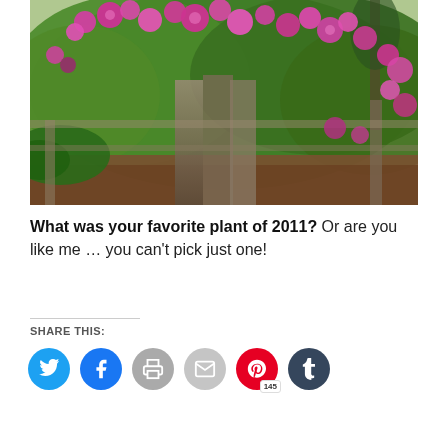[Figure (photo): A large shrub or climbing rose bush covered in bright pink/magenta blooms over a wooden fence, surrounded by green foliage and mulched ground.]
What was your favorite plant of 2011? Or are you like me … you can't pick just one!
SHARE THIS:
[Figure (infographic): Row of social share buttons: Twitter (blue), Facebook (blue), Print (gray), Email (gray), Pinterest (red, 145 saves), Tumblr (dark navy)]